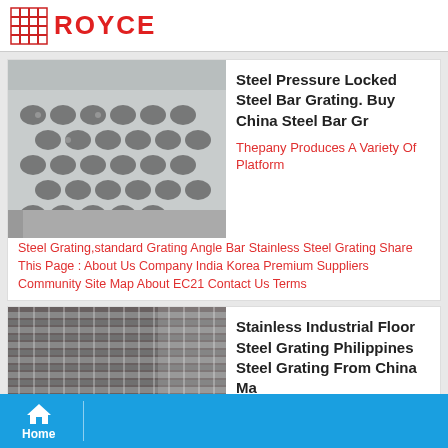ROYCE
[Figure (photo): Perforated/pressure locked steel bar grating panel with round holes, metallic silver color]
Steel Pressure Locked Steel Bar Grating. Buy China Steel Bar Gr
Thepany Produces A Variety Of Platform Steel Grating,standard Grating Angle Bar Stainless Steel Grating Share This Page : About Us Company India Korea Premium Suppliers Community Site Map About EC21 Contact Us Terms
[Figure (photo): Stainless industrial floor steel grating panels stacked, dark metallic grid pattern]
Stainless Industrial Floor Steel Grating Philippines Steel Grating From China Ma
Home